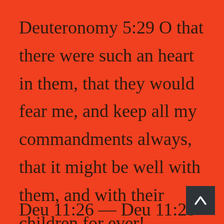Deuteronomy 5:29 O that there were such an heart in them, that they would fear me, and keep all my commandments always, that it might be well with them, and with their children for ever!
Deu 11:26 — Deu 11:28